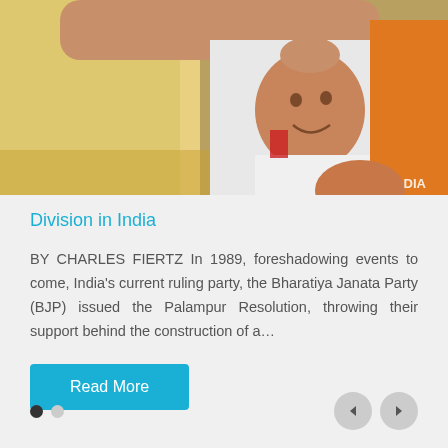[Figure (photo): A person in a yellow shirt placing hand on head of a smiling young boy in a white shirt, with orange-clad figures in background. Watermark 'DIA' visible at bottom right.]
Division in India
BY CHARLES FIERTZ In 1989, foreshadowing events to come, India's current ruling party, the Bharatiya Janata Party (BJP) issued the Palampur Resolution, throwing their support behind the construction of a…
Read More